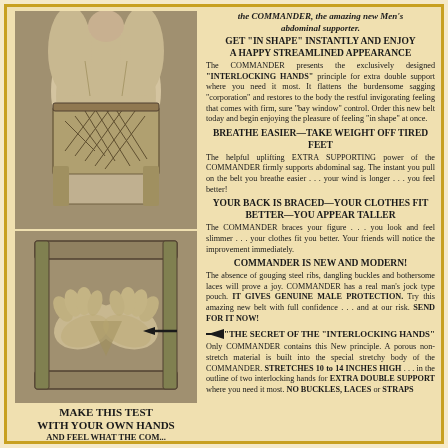[Figure (illustration): Illustration of man wearing abdominal support belt, front view, showing interlocking hands pattern on the belt]
[Figure (illustration): Illustration of hands demonstrating the interlocking hands principle of the Commander belt, with arrow pointing to mechanism]
MAKE THIS TEST WITH YOUR OWN HANDS AND FEEL WHAT THE COMMANDER...
the COMMANDER, the amazing new Men's abdominal supporter.
GET "IN SHAPE" INSTANTLY AND ENJOY A HAPPY STREAMLINED APPEARANCE
The COMMANDER presents the exclusively designed "INTERLOCKING HANDS" principle for extra double support where you need it most. It flattens the burdensome sagging "corporation" and restores to the body the restful invigorating feeling that comes with firm, sure "bay window" control. Order this new belt today and begin enjoying the pleasure of feeling "in shape" at once.
BREATHE EASIER—TAKE WEIGHT OFF TIRED FEET
The helpful uplifting EXTRA SUPPORTING power of the COMMANDER firmly supports abdominal sag. The instant you pull on the belt you breathe easier . . . your wind is longer . . . you feel better!
YOUR BACK IS BRACED—YOUR CLOTHES FIT BETTER—YOU APPEAR TALLER
The COMMANDER braces your figure . . . you look and feel slimmer . . . your clothes fit you better. Your friends will notice the improvement immediately.
COMMANDER IS NEW AND MODERN!
The absence of gouging steel ribs, dangling buckles and bothersome laces will prove a joy. COMMANDER has a real man's jock type pouch. IT GIVES GENUINE MALE PROTECTION. Try this amazing new belt with full confidence . . . and at our risk. SEND FOR IT NOW!
"THE SECRET OF THE "INTERLOCKING HANDS"
Only COMMANDER contains this New principle. A porous non-stretch material is built into the special stretchy body of the COMMANDER. STRETCHES 10 to 14 INCHES HIGH . . . in the outline of two interlocking hands for EXTRA DOUBLE SUPPORT where you need it most. NO BUCKLES, LACES or STRAPS